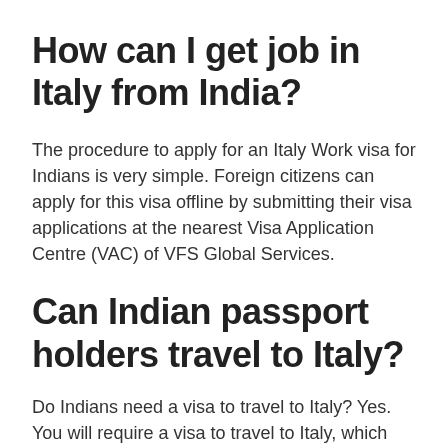How can I get job in Italy from India?
The procedure to apply for an Italy Work visa for Indians is very simple. Foreign citizens can apply for this visa offline by submitting their visa applications at the nearest Visa Application Centre (VAC) of VFS Global Services.
Can Indian passport holders travel to Italy?
Do Indians need a visa to travel to Italy? Yes. You will require a visa to travel to Italy, which